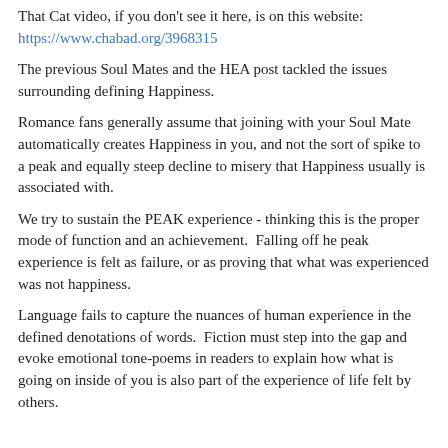That Cat video, if you don't see it here, is on this website: https://www.chabad.org/3968315
The previous Soul Mates and the HEA post tackled the issues surrounding defining Happiness.
Romance fans generally assume that joining with your Soul Mate automatically creates Happiness in you, and not the sort of spike to a peak and equally steep decline to misery that Happiness usually is associated with.
We try to sustain the PEAK experience - thinking this is the proper mode of function and an achievement.  Falling off he peak experience is felt as failure, or as proving that what was experienced was not happiness.
Language fails to capture the nuances of human experience in the defined denotations of words.  Fiction must step into the gap and evoke emotional tone-poems in readers to explain how what is going on inside of you is also part of the experience of life felt by others.